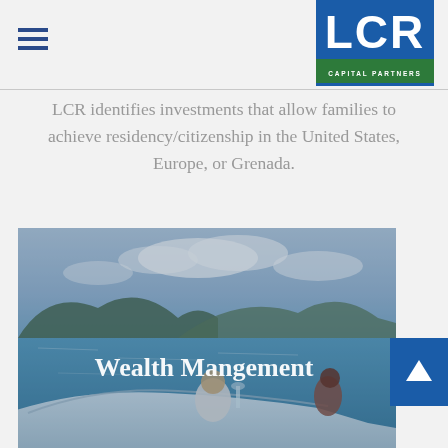[Figure (logo): LCR Capital Partners logo — white LCR letters on blue background with green CAPITAL PARTNERS bar]
LCR identifies investments that allow families to achieve residency/citizenship in the United States, Europe, or Grenada.
[Figure (photo): Two people sitting on the bow of a yacht on turquoise water with tropical mountains in the background. White text overlay reads 'Wealth Mangement']
[Figure (other): Blue square button with white upward arrow icon]